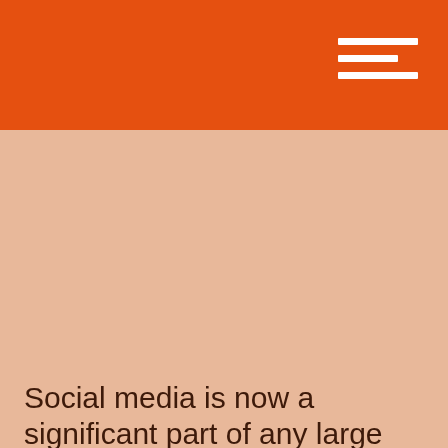Social media is now a significant part of any large